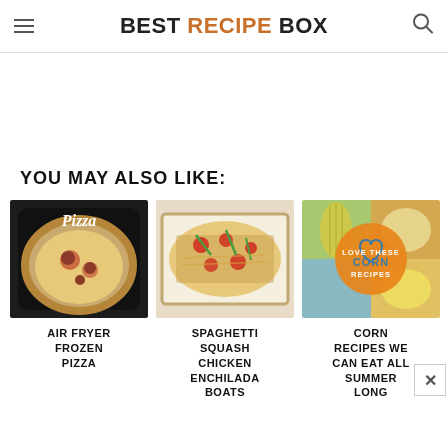BEST RECIPE BOX
YOU MAY ALSO LIKE:
[Figure (photo): Air fryer frozen pizza in a black air fryer basket with text 'Pizza' overlaid]
AIR FRYER FROZEN PIZZA
[Figure (photo): Spaghetti squash chicken enchilada boats with tomatoes and green onions in a baking dish]
SPAGHETTI SQUASH CHICKEN ENCHILADA BOATS
[Figure (photo): Corn recipes collage with orange circle text: LOVE THESE CORN RECIPES]
CORN RECIPES WE CAN EAT ALL SUMMER LONG